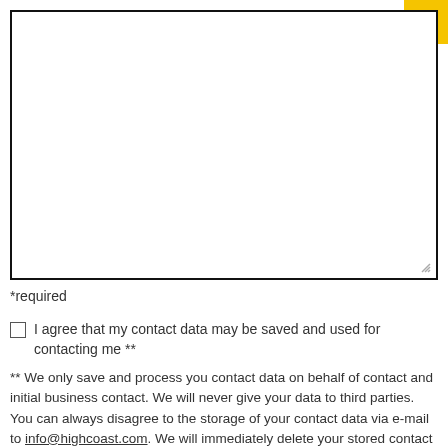HIGH COAST OF SWEDEN
[Figure (other): Large empty text area input box with border and resize handle]
*required
I agree that my contact data may be saved and used for contacting me **
** We only save and process you contact data on behalf of contact and initial business contact. We will never give your data to third parties. You can always disagree to the storage of your contact data via e-mail to info@highcoast.com. We will immediately delete your stored contact data as far as there are no legal terms of legal storage to be